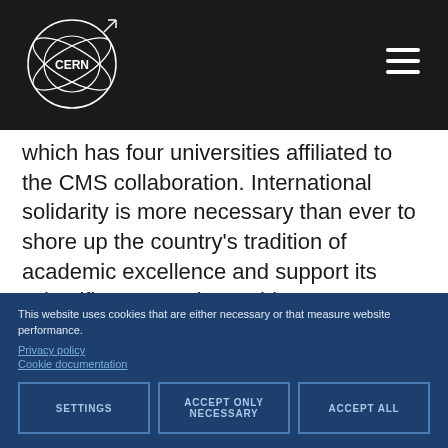CERN
which has four universities affiliated to the CMS collaboration. International solidarity is more necessary than ever to shore up the country's tradition of academic excellence and support its scientific community. In this context, developments such as the donation of CERN computing equipment offer a glimmer of hope amidst Lebanon's setbacks.

The long-awaited fruition of this project, known as HPC4L, was marked on Friday 14 January at a meeting between Joachim Mnich (CERN Director for Research and Computing), Enrica
This website uses cookies that are either necessary or that measure website performance.
Privacy policy
Cookie documentation
SETTINGS | ACCEPT ONLY NECESSARY | ACCEPT ALL